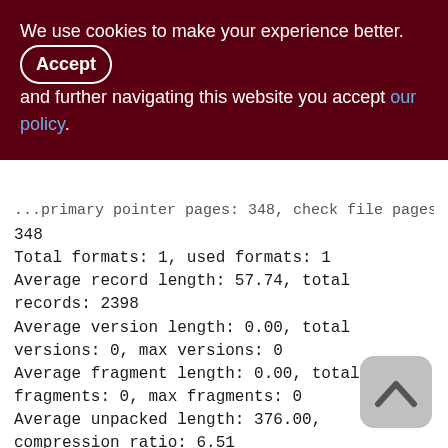We use cookies to make your experience better. By accepting and further navigating this website you accept our policy.
...primary pointer pages: 348, check file pages: 348
Total formats: 1, used formats: 1
Average record length: 57.74, total records: 2398
Average version length: 0.00, total versions: 0, max versions: 0
Average fragment length: 0.00, total fragments: 0, max fragments: 0
Average unpacked length: 376.00, compression ratio: 6.51
Pointer pages: 1, data page slots: 32
Data pages: 32, average fill: 69%